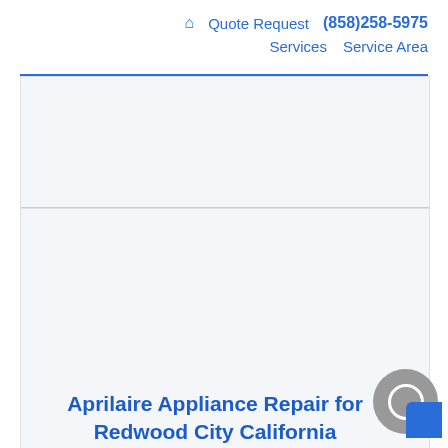🏠 Quote Request (858)258-5975 Services Service Area
[Figure (screenshot): Gray placeholder content area at top]
[Figure (illustration): Light blue-gray rounded rectangle box containing two gear/cog icons in blue, representing appliance repair services]
Aprilaire Appliance Repair for Redwood City California